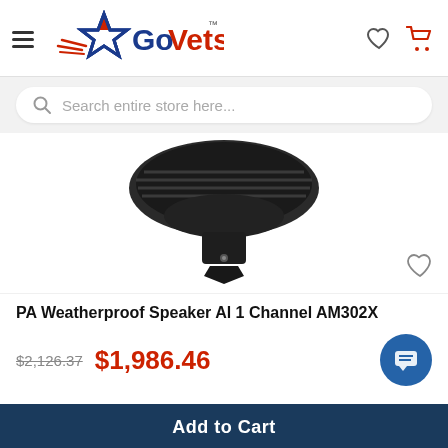[Figure (logo): GoVets logo with red and blue star and speed lines, text 'GoVets' with TM mark]
Search entire store here...
[Figure (photo): Black PA weatherproof speaker horn/driver unit viewed from below/front, showing grill and mounting base]
PA Weatherproof Speaker Al 1 Channel AM302X
$2,126.37  $1,986.46
Add to Cart